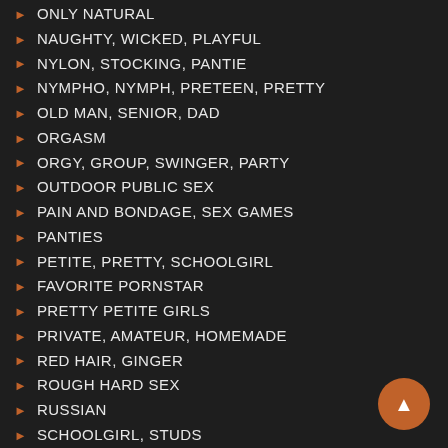ONLY NATURAL
NAUGHTY, WICKED, PLAYFUL
NYLON, STOCKING, PANTIE
NYMPHO, NYMPH, PRETEEN, PRETTY
OLD MAN, SENIOR, DAD
ORGASM
ORGY, GROUP, SWINGER, PARTY
OUTDOOR PUBLIC SEX
PAIN AND BONDAGE, SEX GAMES
PANTIES
PETITE, PRETTY, SCHOOLGIRL
FAVORITE PORNSTAR
PRETTY PETITE GIRLS
PRIVATE, AMATEUR, HOMEMADE
RED HAIR, GINGER
ROUGH HARD SEX
RUSSIAN
SCHOOLGIRL, STUDS
SEDUCE
SHAVED, SKIN